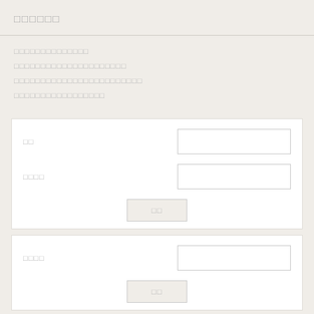□□□□□□
□□□□□□□□□□□□□□
□□□□□□□□□□□□□□□□□□□□□
□□□□□□□□□□□□□□□□□□□□□□□□
□□□□□□□□□□□□□□□□□
□□
□□□□
□□
□□□□
□□